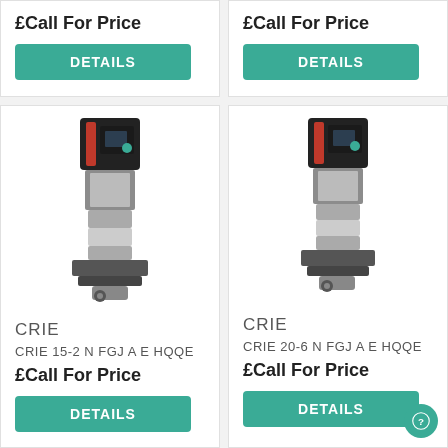£Call For Price
DETAILS
£Call For Price
DETAILS
[Figure (photo): Industrial vertical pump CRIE 15-2 N FGJ A E HQQE — stainless steel body with black motor and red indicator]
CRIE
CRIE 15-2 N FGJ A E HQQE
£Call For Price
DETAILS
[Figure (photo): Industrial vertical pump CRIE 20-6 N FGJ A E HQQE — stainless steel body with black motor and red indicator]
CRIE
CRIE 20-6 N FGJ A E HQQE
£Call For Price
DETAILS